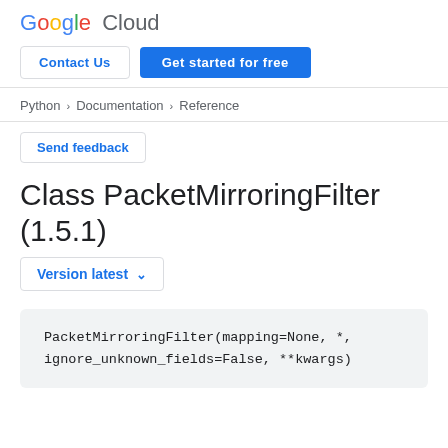[Figure (logo): Google Cloud logo with colorful Google letters and gray Cloud text]
Contact Us
Get started for free
Python > Documentation > Reference
Send feedback
Class PacketMirroringFilter (1.5.1)
Version latest
PacketMirroringFilter(mapping=None, *, ignore_unknown_fields=False, **kwargs)